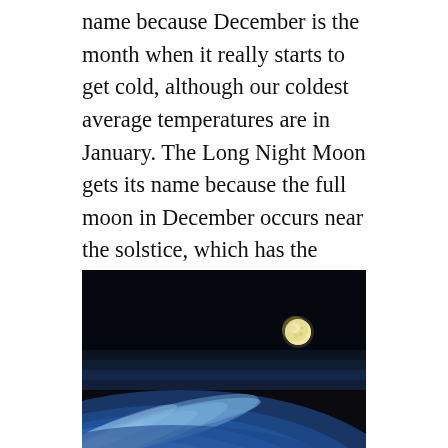name because December is the month when it really starts to get cold, although our coldest average temperatures are in January. The Long Night Moon gets its name because the full moon in December occurs near the solstice, which has the longest night of the year. The full moon takes a high trajectory across the sky because it is opposite to the low sun, so the moon will be above the horizon longer than at other times of the year.
[Figure (photo): Photograph taken from space showing Earth's curved horizon with blue atmosphere and clouds below, and a full moon visible in the upper right against the black of space.]